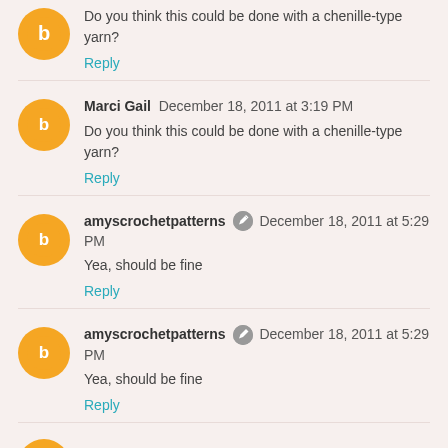Do you think this could be done with a chenille-type yarn?
Reply
Marci Gail  December 18, 2011 at 3:19 PM
Do you think this could be done with a chenille-type yarn?
Reply
amyscrochetpatterns  December 18, 2011 at 5:29 PM
Yea, should be fine
Reply
amyscrochetpatterns  December 18, 2011 at 5:29 PM
Yea, should be fine
Reply